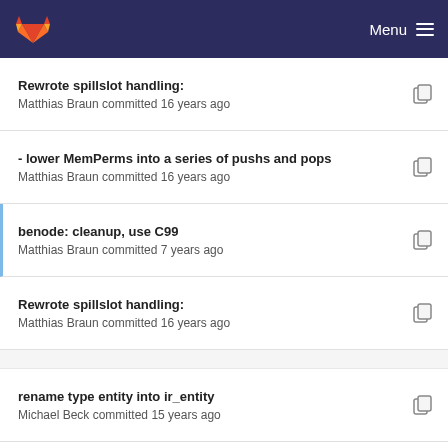GitLab Menu
Rewrote spillslot handling:
Matthias Braun committed 16 years ago
- lower MemPerms into a series of pushs and pops
Matthias Braun committed 16 years ago
benode: cleanup, use C99
Matthias Braun committed 7 years ago
Rewrote spillslot handling:
Matthias Braun committed 16 years ago
rename type entity into ir_entity
Michael Beck committed 15 years ago
Rewrote spillslot handling:
Matthias Braun committed 16 years ago
- lower MemPerms into a series of pushs and pops
Matthias Braun committed 16 years ago
Imprint